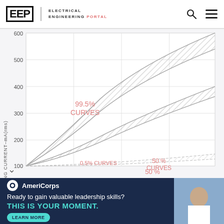EEP | ELECTRICAL ENGINEERING PORTAL
[Figure (continuous-plot): Fibrillating current vs exposure chart showing three band pairs (99.5% CURVES, 50% CURVES, 0.5% CURVES). Y-axis: FIBRILLATING CURRENT–mA(rms) from 100 to 600. X-axis not fully visible. Three hatched band regions running diagonally from lower-left to upper-right. Upper band labeled 99.5% CURVES, middle band labeled 50% CURVES, lower band labeled 0.5% CURVES (partially visible at bottom).]
0.5% CURVES
[Figure (photo): Advertisement banner: AmeriCorps. Ready to gain valuable leadership skills? THIS IS YOUR MOMENT. LEARN MORE button. Dark navy background with teal accent text. Right side shows a partial photo of people.]